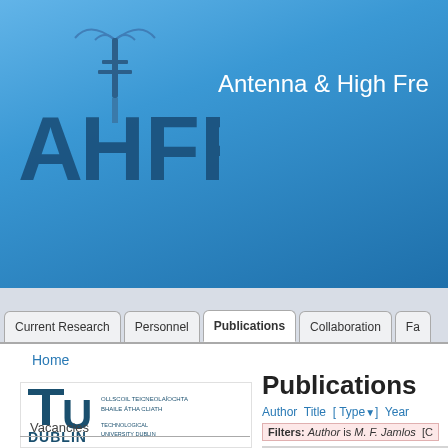[Figure (logo): AHFR antenna logo with blue gradient background and 'Antenna & High Fre...' text in white]
Antenna & High Fre
[Figure (screenshot): Navigation bar with tabs: Current Research, Personnel, Publications (active), Collaboration, Fa...]
Home
[Figure (logo): TU Dublin logo - Technological University Dublin with Irish text OLLSCOIL TEICNEOLAÍOCHTA BHAILE ÁTHA CLIATH]
Publications
Author Title [ Type ] Year
Filters: Author is M. F. Jamlos [C
Journal Article
Al-Bawri, S., Jamlos, M. F., Soh, P
Dipole Antenna for WLAN and
63 – 68, 2018     DOI C
Vacancies